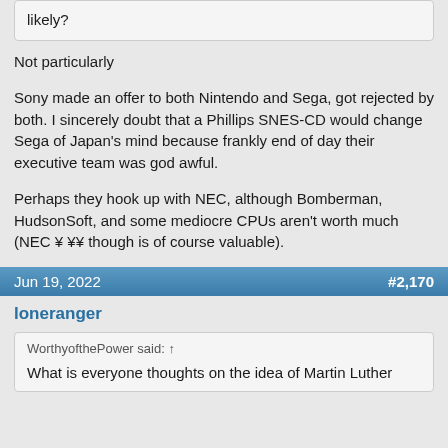likely?
Not particularly
Sony made an offer to both Nintendo and Sega, got rejected by both. I sincerely doubt that a Phillips SNES-CD would change Sega of Japan's mind because frankly end of day their executive team was god awful.
Perhaps they hook up with NEC, although Bomberman, HudsonSoft, and some mediocre CPUs aren't worth much (NEC ¥ ¥¥ though is of course valuable).
Jun 19, 2022   #2,170
loneranger
WorthyofthePower said: ↑
What is everyone thoughts on the idea of Martin Luther King jr. being a part of Star Trek The Original...